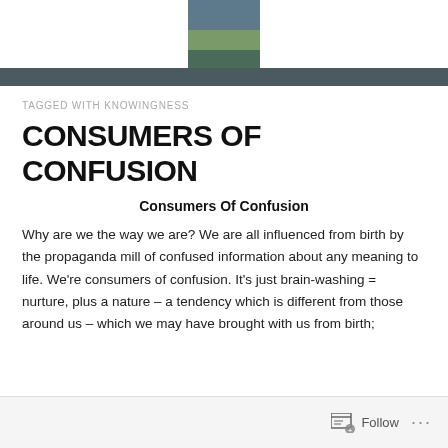[Figure (photo): Profile photo thumbnail of a person outdoors]
TAGGED WITH KNOWINGNESS
CONSUMERS OF CONFUSION
Consumers Of Confusion
Why are we the way we are? We are all influenced from birth by the propaganda mill of confused information about any meaning to life. We’re consumers of confusion. It’s just brain-washing = nurture, plus a nature – a tendency which is different from those around us – which we may have brought with us from birth;
Follow ...